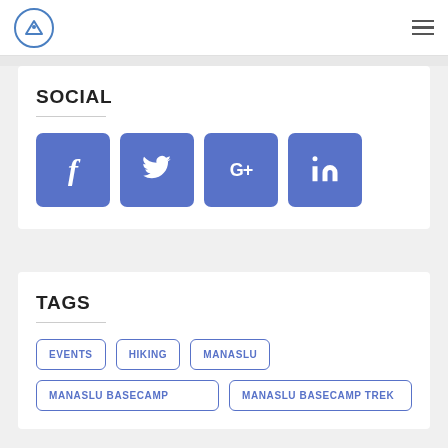Logo and navigation menu
SOCIAL
[Figure (infographic): Four blue rounded square social media buttons: Facebook (f), Twitter (bird), Google+ (G+), LinkedIn (in)]
TAGS
EVENTS
HIKING
MANASLU
MANASLU BASECAMP
MANASLU BASECAMP TREK